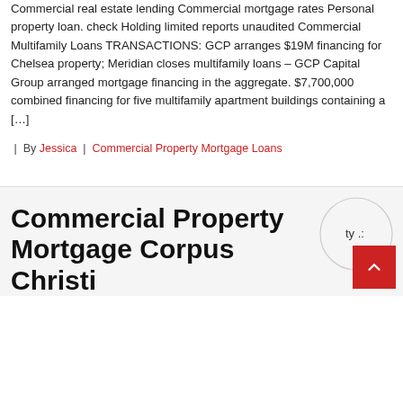Commercial real estate lending Commercial mortgage rates Personal property loan. check Holding limited reports unaudited Commercial Multifamily Loans TRANSACTIONS: GCP arranges $19M financing for Chelsea property; Meridian closes multifamily loans – GCP Capital Group arranged mortgage financing in the aggregate. $7,700,000 combined financing for five multifamily apartment buildings containing a […]
| By Jessica | Commercial Property Mortgage Loans
Commercial Property Mortgage Corpus Christi